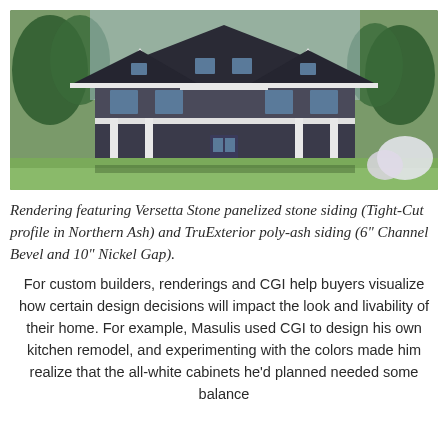[Figure (photo): Rendering of a large two-story farmhouse-style home with dark stone and white siding, dormers, covered porch, surrounded by green lawn and trees]
Rendering featuring Versetta Stone panelized stone siding (Tight-Cut profile in Northern Ash) and TruExterior poly-ash siding (6" Channel Bevel and 10" Nickel Gap).
For custom builders, renderings and CGI help buyers visualize how certain design decisions will impact the look and livability of their home. For example, Masulis used CGI to design his own kitchen remodel, and experimenting with the colors made him realize that the all-white cabinets he’d planned needed some balance